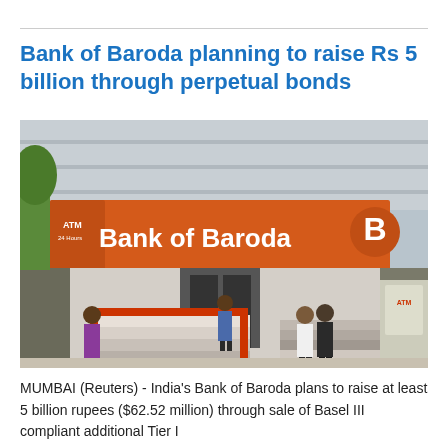Bank of Baroda planning to raise Rs 5 billion through perpetual bonds
[Figure (photo): Exterior photograph of a Bank of Baroda branch building with prominent orange signage displaying 'Bank of Baroda' and the bank's logo. An ATM is visible on the left side. People are walking outside on steps and the entrance area.]
MUMBAI (Reuters) - India's Bank of Baroda plans to raise at least 5 billion rupees ($62.52 million) through sale of Basel III compliant additional Tier I